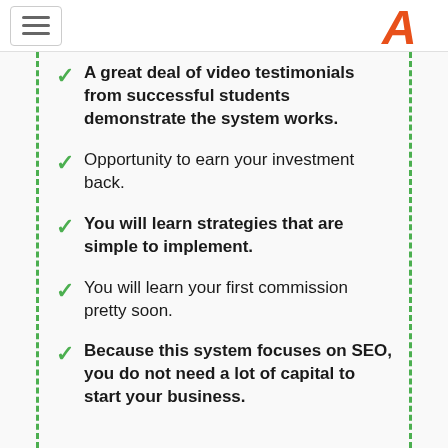[hamburger menu] [A logo]
A great deal of video testimonials from successful students demonstrate the system works.
Opportunity to earn your investment back.
You will learn strategies that are simple to implement.
You will learn your first commission pretty soon.
Because this system focuses on SEO, you do not need a lot of capital to start your business.